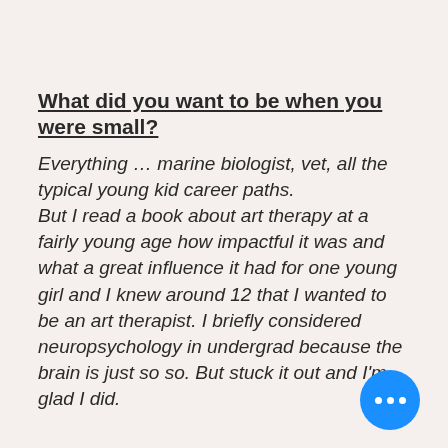What did you want to be when you were small?
Everything … marine biologist, vet, all the typical young kid career paths.

But I read a book about art therapy at a fairly young age how impactful it was and what a great influence it had for one young girl and I knew around 12 that I wanted to be an art therapist. I briefly considered neuropsychology in undergrad because the brain is just so so. But stuck it out and I'm glad I did.